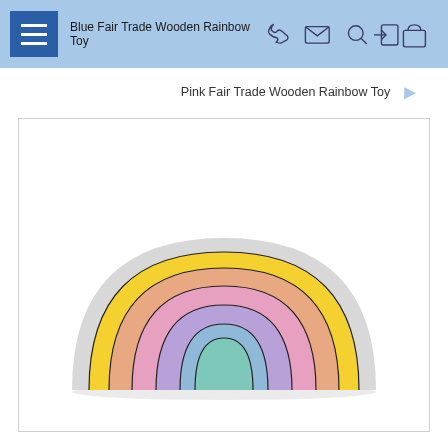Blue Fair Trade Wooden Rainbow Toy
Pink Fair Trade Wooden Rainbow Toy
[Figure (photo): A pastel-colored wooden rainbow stacking toy with concentric arch layers in gray (outermost), yellow, peach/salmon, pink, lavender/purple, light blue, and mint/teal (innermost), arranged in a semicircle on a white background.]